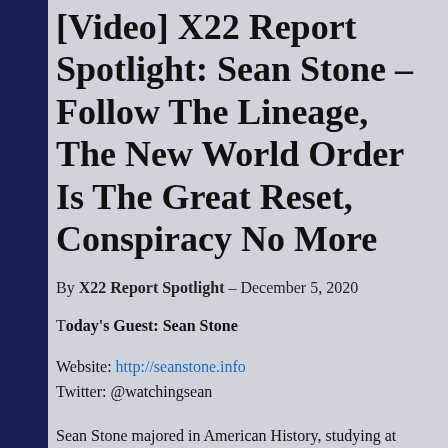[Video] X22 Report Spotlight: Sean Stone – Follow The Lineage, The New World Order Is The Great Reset, Conspiracy No More
By X22 Report Spotlight – December 5, 2020
Today's Guest: Sean Stone
Website: http://seanstone.info
Twitter: @watchingsean
Sean Stone majored in American History, studying at Oxford and Princeton University . Sean grew up in the film world, acting in many of his father Oliver